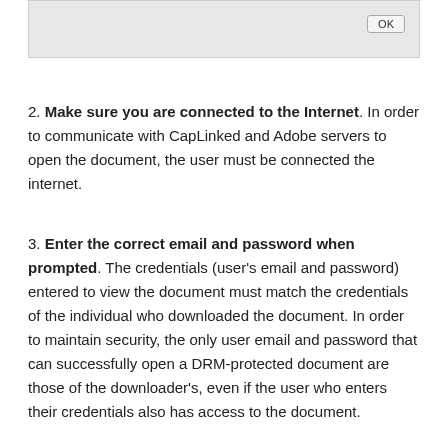[Figure (screenshot): Screenshot of a dialog box with an OK button in the top-right corner, grey background.]
2. Make sure you are connected to the Internet. In order to communicate with CapLinked and Adobe servers to open the document, the user must be connected the internet.
3. Enter the correct email and password when prompted. The credentials (user's email and password) entered to view the document must match the credentials of the individual who downloaded the document. In order to maintain security, the only user email and password that can successfully open a DRM-protected document are those of the downloader's, even if the user who enters their credentials also has access to the document.